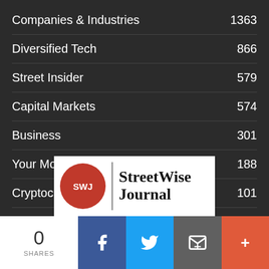Companies & Industries   1363
Diversified Tech   866
Street Insider   579
Capital Markets   574
Business   301
Your Money   188
Cryptocurrency   101
Research   99
[Figure (logo): StreetWise Journal logo with red SWJ circle emblem]
0 SHARES
Social share buttons: Facebook, Twitter, Email, More